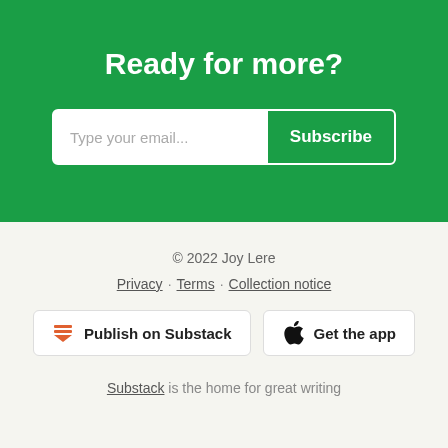Ready for more?
Type your email... Subscribe
© 2022 Joy Lere
Privacy · Terms · Collection notice
Publish on Substack
Get the app
Substack is the home for great writing